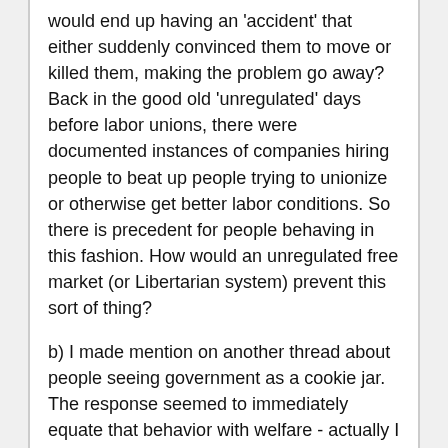would end up having an 'accident' that either suddenly convinced them to move or killed them, making the problem go away? Back in the good old 'unregulated' days before labor unions, there were documented instances of companies hiring people to beat up people trying to unionize or otherwise get better labor conditions. So there is precedent for people behaving in this fashion. How would an unregulated free market (or Libertarian system) prevent this sort of thing?
b) I made mention on another thread about people seeing government as a cookie jar. The response seemed to immediately equate that behavior with welfare - actually I was talking about 'good hard working Americans', specifically the people in my neck of the woods. In this area the roads have been in bad shape for years and for years people have been trying to come up with a way to improve them. A common theme throughout this whole issue has been 'good hardworking Americans', many of whom are self-avowed free-market conservatives who hate government regulation - suggesting that local taxes should not be raised to pay for local roads and that instead Federal funds should be